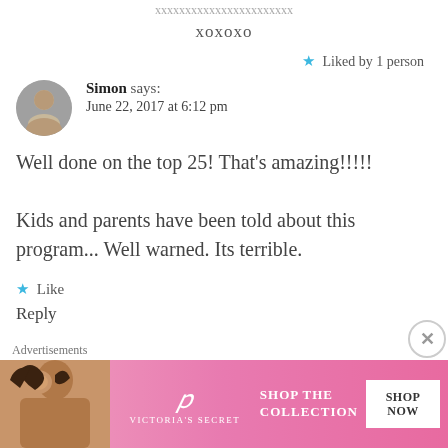xoxoxo
Liked by 1 person
Simon says:
June 22, 2017 at 6:12 pm
Well done on the top 25! That's amazing!!!!!
Kids and parents have been told about this program... Well warned. Its terrible.
Like
Reply
Advertisements
[Figure (illustration): Victoria's Secret advertisement banner with a model, VS logo, SHOP THE COLLECTION text and SHOP NOW button]